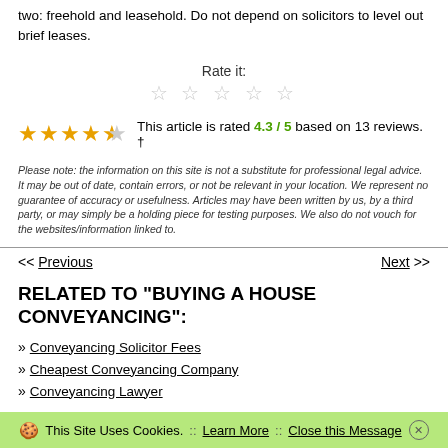two: freehold and leasehold. Do not depend on solicitors to level out brief leases.
Rate it:
[Figure (other): 5 empty star rating icons]
[Figure (other): 4.5 filled orange stars rating display]
This article is rated 4.3 / 5 based on 13 reviews. †
Please note: the information on this site is not a substitute for professional legal advice. It may be out of date, contain errors, or not be relevant in your location. We represent no guarantee of accuracy or usefulness. Articles may have been written by us, by a third party, or may simply be a holding piece for testing purposes. We also do not vouch for the websites/information linked to.
<< Previous    Next >>
RELATED TO "BUYING A HOUSE CONVEYANCING":
» Conveyancing Solicitor Fees
» Cheapest Conveyancing Company
» Conveyancing Lawyer
This Site Uses Cookies. :: Learn More :: Close this Message ✕